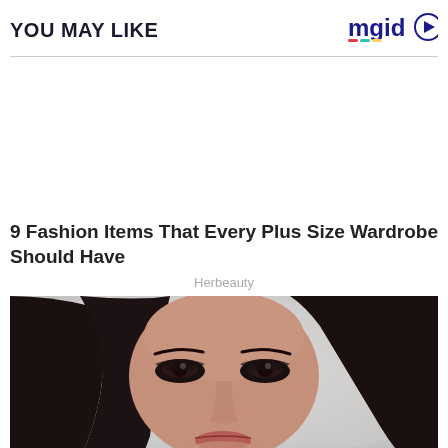YOU MAY LIKE
[Figure (logo): mgid logo with play button icon]
[Figure (photo): Advertisement placeholder area (white space)]
9 Fashion Items That Every Plus Size Wardrobe Should Have
Herbeauty
[Figure (photo): Close-up photo of a woman with dark hair and dark eye makeup, looking at the camera]